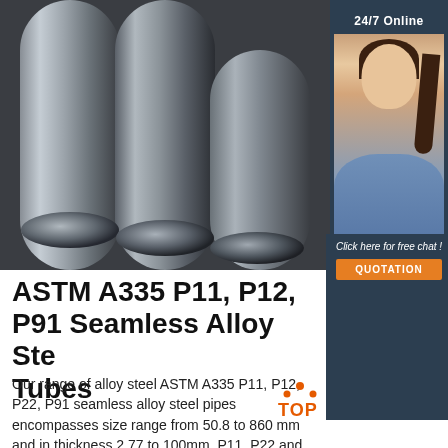[Figure (photo): Three cylindrical steel rods/bars photographed close-up, showing dark metallic surface with circular cross-sections visible at the bottom ends.]
[Figure (photo): Customer service agent (woman with headset, dark hair) with '24/7 Online' header above and 'Click here for free chat!' text and orange QUOTATION button below, on dark blue background sidebar widget.]
ASTM A335 P11, P12, P91 Seamless Alloy Steel Tubes
Our range of alloy steel ASTM A335 P11, P12, P22, P91 seamless alloy steel pipes encompasses size range from 50.8 to 860 mm and in thickness 2.77 to 100mm. P11, P22 and
[Figure (logo): TOP logo with orange dots forming a triangle/arc above the word TOP in orange text.]